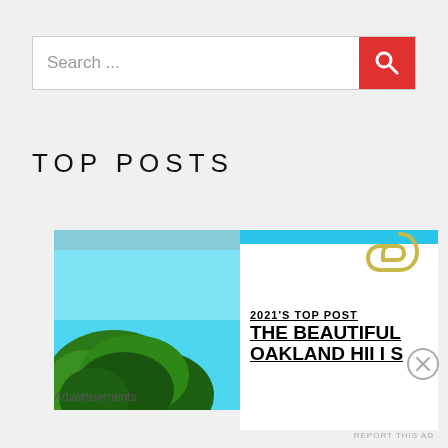Search ...
TOP POSTS
[Figure (photo): Outdoor photo showing a blue sky with green trees below, slightly blurred]
[Figure (illustration): White card with blue stripe at top, paperclip, text '2021'S TOP POST THE BEAUTIFUL OAKLAND HILLS']
Advertisements
REPORT THIS AD